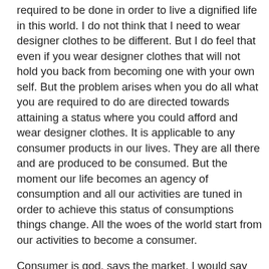required to be done in order to live a dignified life in this world. I do not think that I need to wear designer clothes to be different. But I do feel that even if you wear designer clothes that will not hold you back from becoming one with your own self. But the problem arises when you do all what you are required to do are directed towards attaining a status where you could afford and wear designer clothes. It is applicable to any consumer products in our lives. They are all there and are produced to be consumed. But the moment our life becomes an agency of consumption and all our activities are tuned in order to achieve this status of consumptions things change. All the woes of the world start from our activities to become a consumer.
Consumer is god, says the market. I would say consumer is a false god. Our world is filled with false gods created by religions. And today consumer products are new gods where we become devotees. At the shrine of the market place where we go to worship, they say that you are not just a devotee you are the god himself and you start believing in it. Market place is a short cut to spiritual satisfaction. Market is the religion where we pray to false gods of products. But